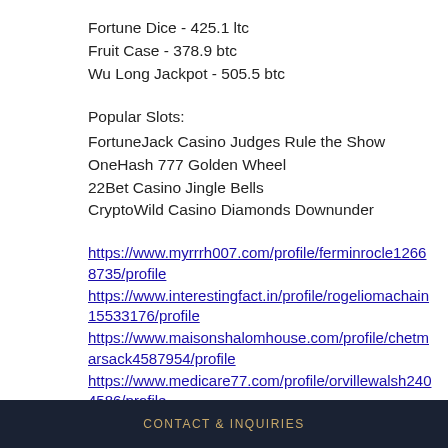Fortune Dice - 425.1 ltc
Fruit Case - 378.9 btc
Wu Long Jackpot - 505.5 btc
Popular Slots:
FortuneJack Casino Judges Rule the Show
OneHash 777 Golden Wheel
22Bet Casino Jingle Bells
CryptoWild Casino Diamonds Downunder
https://www.myrrrh007.com/profile/ferminrocle12668735/profile
https://www.interestingfact.in/profile/rogeliomachain15533176/profile
https://www.maisonshalomhouse.com/profile/chetmarsack4587954/profile
https://www.medicare77.com/profile/orvillewalsh2404586/profile
CONTACT & INQUIRIES